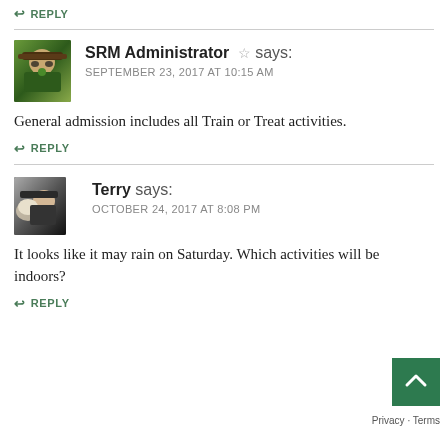↩ REPLY
[Figure (photo): Avatar photo of SRM Administrator - person wearing hat and sunglasses outdoors]
SRM Administrator ☆ says:
SEPTEMBER 23, 2017 AT 10:15 AM
General admission includes all Train or Treat activities.
↩ REPLY
[Figure (photo): Avatar photo of Terry - person with dog outdoors]
Terry says:
OCTOBER 24, 2017 AT 8:08 PM
It looks like it may rain on Saturday. Which activities will be indoors?
↩ REPLY